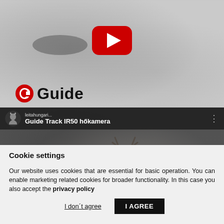[Figure (screenshot): YouTube video thumbnail with Guide brand logo showing thermal/IR camera footage of an animal. Top section shows a YouTube play button over a grayscale thermal image background with Guide logo visible. Second video thumbnail shows 'Guide Track IR50 hőkamera' with channel avatar, title bar, and YouTube play button over a thermal deer image.]
Cookie settings
Our website uses cookies that are essential for basic operation. You can enable marketing related cookies for broader functionality. In this case you also accept the privacy policy